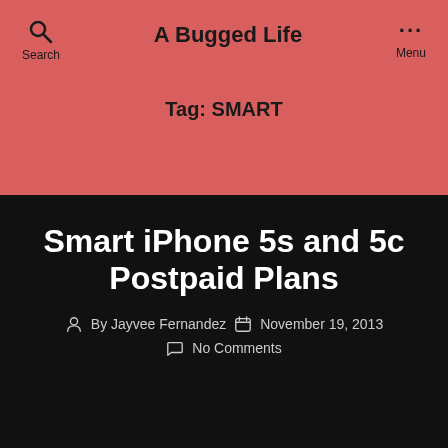A Bugged Life
Tag: SMART
Smart iPhone 5s and 5c Postpaid Plans
By Jayvee Fernandez  November 19, 2013  No Comments
[Figure (screenshot): Partial view of an article preview strip with blue and red sections at the bottom of the page]